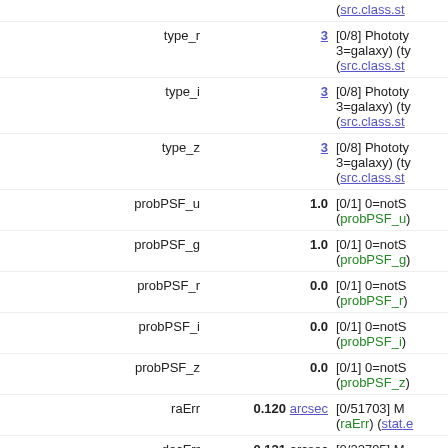| Name | Value | Description |
| --- | --- | --- |
| type_r | 3 | [0/8] Phototy... 3=galaxy) (ty... (src.class.st... |
| type_i | 3 | [0/8] Phototy... 3=galaxy) (ty... (src.class.st... |
| type_z | 3 | [0/8] Phototy... 3=galaxy) (ty... (src.class.st... |
| probPSF_u | 1.0 | [0/1] 0=notS... (probPSF_u) |
| probPSF_g | 1.0 | [0/1] 0=notS... (probPSF_g) |
| probPSF_r | 0.0 | [0/1] 0=notS... (probPSF_r) |
| probPSF_i | 0.0 | [0/1] 0=notS... (probPSF_i) |
| probPSF_z | 0.0 | [0/1] 0=notS... (probPSF_z) |
| raErr | 0.120 arcsec | [0/51703] M... (raErr) (stat.e... |
| decErr | 0.121 arcsec | [0/22795] M... |